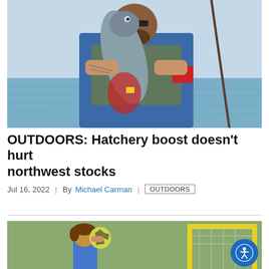[Figure (photo): Man on a boat holding up a large fish (appears to be a salmon or trout) with both hands. He is wearing sunglasses, a blue t-shirt, and a camouflage life vest with an IR logo patch. Fishing rods visible in background. Water and sky in the background.]
OUTDOORS: Hatchery boost doesn't hurt northwest stocks
Jul 16, 2022  |  By Michael Carman  |  OUTDOORS
[Figure (photo): Youth soccer player with brown hair heading or about to head a yellow and green soccer ball near a goal with yellow posts. Background shows blurred trees and other players.]